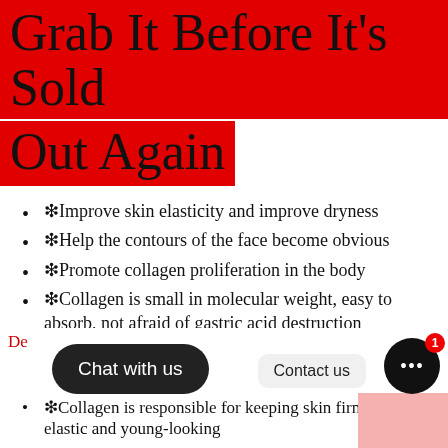Grab It Before It's Sold Out Again
✦Improve skin elasticity and improve dryness
✦Help the contours of the face become obvious
✦Promote collagen proliferation in the body
✦Collagen is small in molecular weight, easy to absorb, not afraid of gastric acid destruction
✦Suitable for people over 25 years old, who often spend time in the sun, and often stay in air-conditioned rooms
✦Collagen is responsible for keeping skin firm, smooth, elastic and young-looking